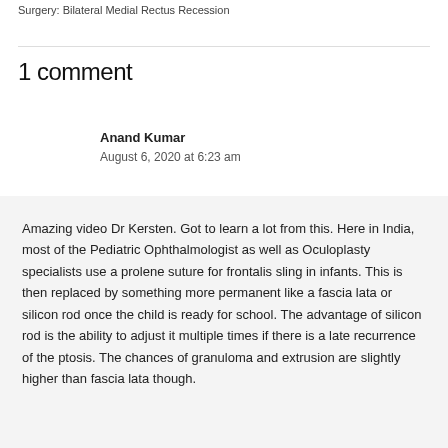Surgery: Bilateral Medial Rectus Recession
1 comment
Anand Kumar
August 6, 2020 at 6:23 am
Amazing video Dr Kersten. Got to learn a lot from this. Here in India, most of the Pediatric Ophthalmologist as well as Oculoplasty specialists use a prolene suture for frontalis sling in infants. This is then replaced by something more permanent like a fascia lata or silicon rod once the child is ready for school. The advantage of silicon rod is the ability to adjust it multiple times if there is a late recurrence of the ptosis. The chances of granuloma and extrusion are slightly higher than fascia lata though.